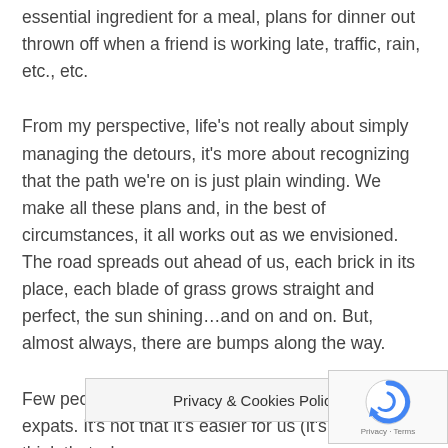essential ingredient for a meal, plans for dinner out thrown off when a friend is working late, traffic, rain, etc., etc.
From my perspective, life's not really about simply managing the detours, it's more about recognizing that the path we're on is just plain winding. We make all these plans and, in the best of circumstances, it all works out as we envisioned. The road spreads out ahead of us, each brick in its place, each blade of grass grows straight and perfect, the sun shining…and on and on. But, almost always, there are bumps along the way.
Few people understand this reality better than expats. It's not that it's easier for us (it's not,) but do think that wher[…]
Privacy & Cookies Policy